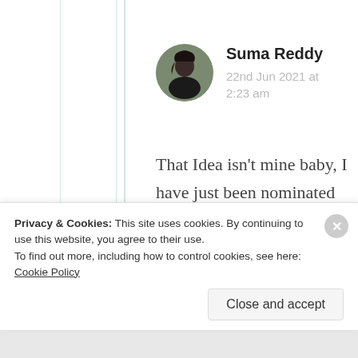Suma Reddy
22nd Jun 2021 at 2:23 am
That Idea isn’t mine baby, I have just been nominated for that’s was created by some other blogger as details linked out there. You can visit
Privacy & Cookies: This site uses cookies. By continuing to use this website, you agree to their use.
To find out more, including how to control cookies, see here: Cookie Policy
Close and accept